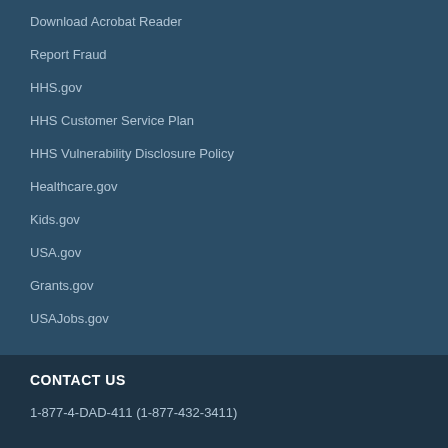Download Acrobat Reader
Report Fraud
HHS.gov
HHS Customer Service Plan
HHS Vulnerability Disclosure Policy
Healthcare.gov
Kids.gov
USA.gov
Grants.gov
USAJobs.gov
CONTACT US
1-877-4-DAD-411 (1-877-432-3411)